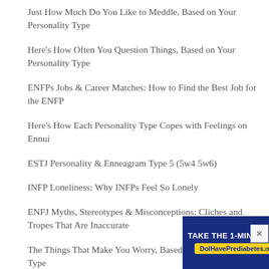Just How Much Do You Like to Meddle, Based on Your Personality Type
Here's How Often You Question Things, Based on Your Personality Type
ENFPs Jobs & Career Matches: How to Find the Best Job for the ENFP
Here's How Each Personality Type Copes with Feelings on Ennui
ESTJ Personality & Enneagram Type 5 (5w4 5w6)
INFP Loneliness: Why INFPs Feel So Lonely
ENFJ Myths, Stereotypes & Misconceptions: Cliches and Tropes That Are Inaccurate
The Things That Make You Worry, Based on Your Personality Type
Th
Th
[Figure (screenshot): Advertisement banner: 'TAKE THE 1-MINUTE RISK TEST TODAY.' with URL DolHavePrediabetes.org and logos for ad council, AMA, and CDC]